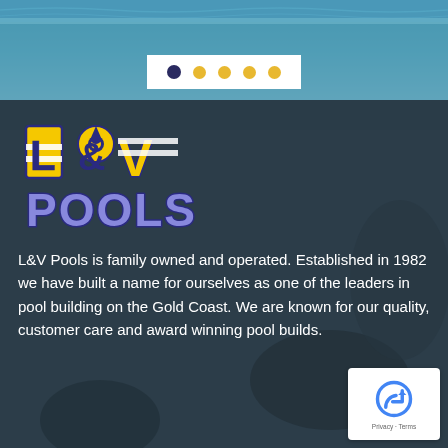[Figure (photo): Top portion of a swimming pool photo with blue water, partially cropped]
[Figure (infographic): Carousel navigation dots: one dark navy filled dot followed by four gold/yellow filled dots]
[Figure (logo): L&V Pools logo with stylized yellow block letters 'L&V' on top and blue/purple 'POOLS' below, with decorative pool-related graphics]
L&V Pools is family owned and operated. Established in 1982 we have built a name for ourselves as one of the leaders in pool building on the Gold Coast. We are known for our quality, customer care and award winning pool builds.